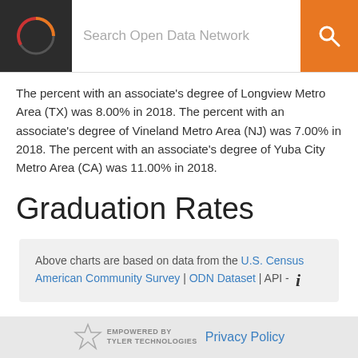Search Open Data Network
The percent with an associate's degree of Longview Metro Area (TX) was 8.00% in 2018. The percent with an associate's degree of Vineland Metro Area (NJ) was 7.00% in 2018. The percent with an associate's degree of Yuba City Metro Area (CA) was 11.00% in 2018.
Graduation Rates
Above charts are based on data from the U.S. Census American Community Survey | ODN Dataset | API -
EMPOWERED BY TYLER TECHNOLOGIES  Privacy Policy